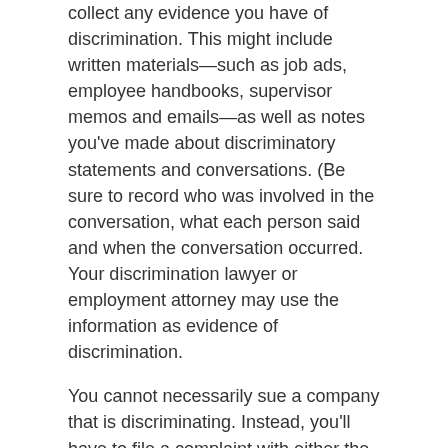collect any evidence you have of discrimination. This might include written materials—such as job ads, employee handbooks, supervisor memos and emails—as well as notes you've made about discriminatory statements and conversations. (Be sure to record who was involved in the conversation, what each person said and when the conversation occurred. Your discrimination lawyer or employment attorney may use the information as evidence of discrimination.
You cannot necessarily sue a company that is discriminating. Instead, you'll have to file a complaint with either the U.S. Equal Employment Opportunity Commission or the Iowa Civil Rights Commission. You have 300 days from the date when the most recent discriminatory act occurred to file a complaint.
If the government investigation finds in your favor, you may be eligible for job reinstatement, back pay or a financial settlement. You may also be given a "right to sue" letter, which authorizes you and your employment attorneys to file a civil lawsuit against the company in Iowa court.
Find & Hire Local Iowa Discrimination Attorneys